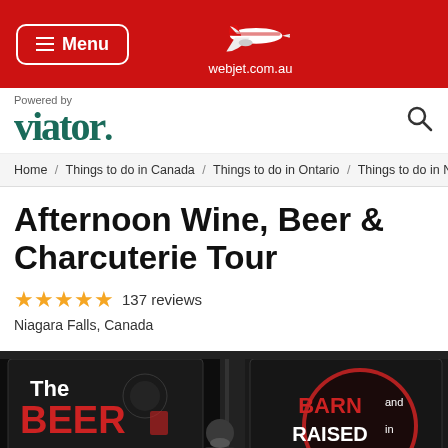Menu | webjet.com.au
[Figure (logo): Viator logo with 'Powered by' text above it and a search icon to the right]
Home / Things to do in Canada / Things to do in Ontario / Things to do in Niag
Afternoon Wine, Beer & Charcuterie Tour
★★★★★ 137 reviews
Niagara Falls, Canada
[Figure (photo): Photo showing The Beer Shed and Barn and Raised signage in Niagara-on-the-Lake, with a person standing in between]